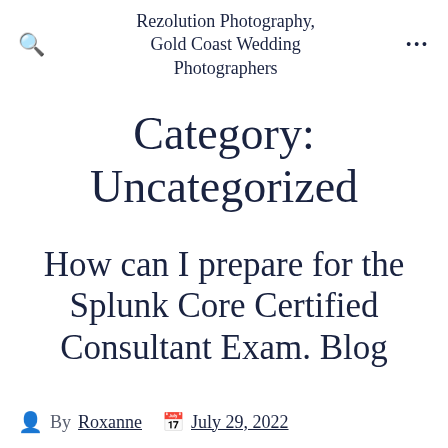Rezolution Photography, Gold Coast Wedding Photographers
Category: Uncategorized
How can I prepare for the Splunk Core Certified Consultant Exam. Blog
By Roxanne  July 29, 2022